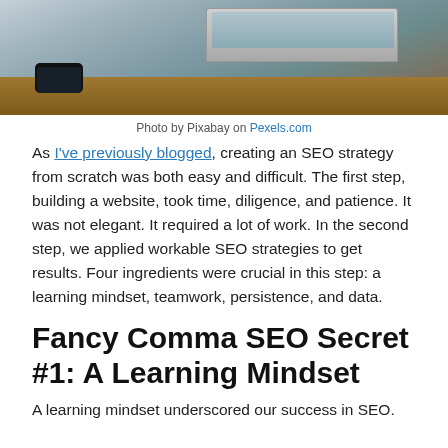[Figure (photo): Photo of a laptop and smartphone on a wooden desk]
Photo by Pixabay on Pexels.com
As I've previously blogged, creating an SEO strategy from scratch was both easy and difficult. The first step, building a website, took time, diligence, and patience. It was not elegant. It required a lot of work. In the second step, we applied workable SEO strategies to get results. Four ingredients were crucial in this step: a learning mindset, teamwork, persistence, and data.
Fancy Comma SEO Secret #1: A Learning Mindset
A learning mindset underscored our success in SEO.